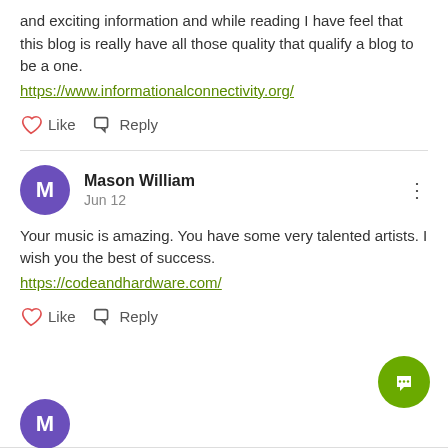and exciting information and while reading I have feel that this blog is really have all those quality that qualify a blog to be a one.
https://www.informationalconnectivity.org/
Like   Reply
Mason William
Jun 12
Your music is amazing. You have some very talented artists. I wish you the best of success.
https://codeandhardware.com/
Like   Reply